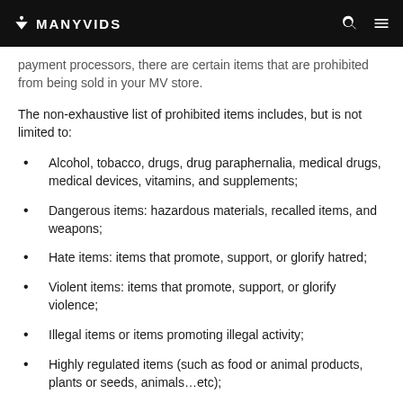MANYVIDS
payment processors, there are certain items that are prohibited from being sold in your MV store.
The non-exhaustive list of prohibited items includes, but is not limited to:
Alcohol, tobacco, drugs, drug paraphernalia, medical drugs, medical devices, vitamins, and supplements;
Dangerous items: hazardous materials, recalled items, and weapons;
Hate items: items that promote, support, or glorify hatred;
Violent items: items that promote, support, or glorify violence;
Illegal items or items promoting illegal activity;
Highly regulated items (such as food or animal products, plants or seeds, animals…etc);